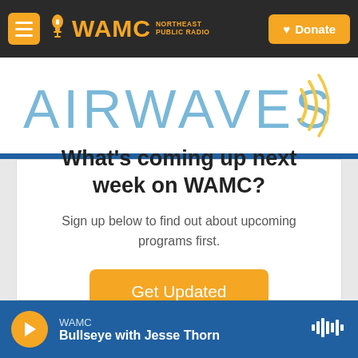WAMC NORTHEAST PUBLIC RADIO | Donate
[Figure (logo): AIRWAVES logo text in light blue with signal wave arcs to the right]
What's coming up next week on WAMC?
Sign up below to find out about upcoming programs first.
Get Updated
WAMC | Bullseye with Jesse Thorn